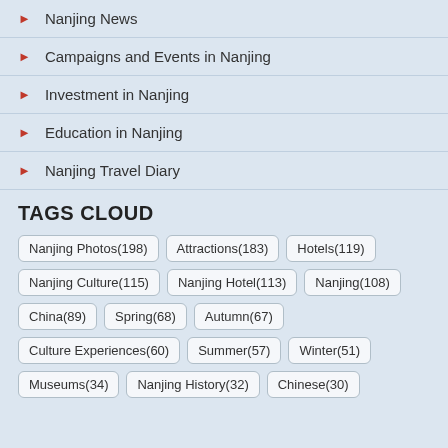Nanjing News
Campaigns and Events in Nanjing
Investment in Nanjing
Education in Nanjing
Nanjing Travel Diary
TAGS CLOUD
Nanjing Photos(198) Attractions(183) Hotels(119) Nanjing Culture(115) Nanjing Hotel(113) Nanjing(108) China(89) Spring(68) Autumn(67) Culture Experiences(60) Summer(57) Winter(51) Museums(34) Nanjing History(32) Chinese(30)